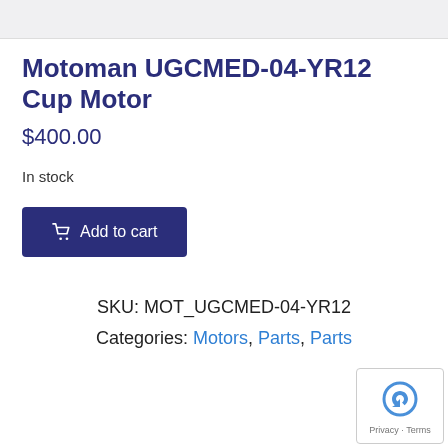[Figure (photo): Top portion of a product image, light gray background, partially visible.]
Motoman UGCMED-04-YR12 Cup Motor
$400.00
In stock
Add to cart
SKU: MOT_UGCMED-04-YR12
Categories: Motors, Parts, Parts